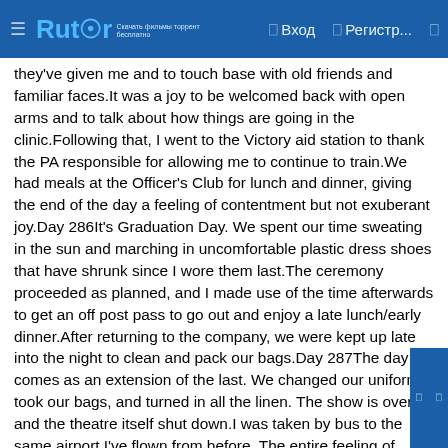Rutor | Вход | Регистр...
they've given me and to touch base with old friends and familiar faces.It was a joy to be welcomed back with open arms and to talk about how things are going in the clinic.Following that, I went to the Victory aid station to thank the PA responsible for allowing me to continue to train.We had meals at the Officer's Club for lunch and dinner, giving the end of the day a feeling of contentment but not exuberant joy.Day 286It's Graduation Day. We spent our time sweating in the sun and marching in uncomfortable plastic dress shoes that have shrunk since I wore them last.The ceremony proceeded as planned, and I made use of the time afterwards to get an off post pass to go out and enjoy a late lunch/early dinner.After returning to the company, we were kept up late into the night to clean and pack our bags.Day 287The day comes as an extension of the last. We changed our uniforms, took our bags, and turned in all the linen. The show is over and the theatre itself shut down.I was taken by bus to the same airport I've flown from before. The entire feeling of going full circle brought a surreal air to our time spent waiting. This was simply meant to be a short, temporary, challenge that intended to prove something that tends to motivate me of…